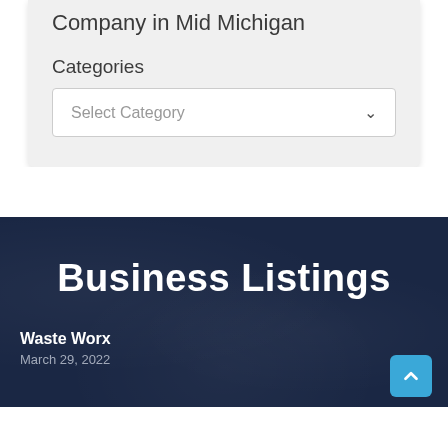Company in Mid Michigan
Categories
Select Category
Business Listings
Waste Worx
March 29, 2022